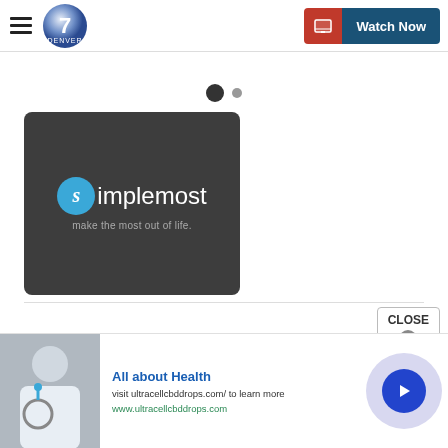Denver 7 — Watch Now
[Figure (other): Carousel dot indicators: one large filled dot and one small empty dot]
[Figure (logo): Simplemost logo on dark grey card background — 'S' circle in blue, text 'simplemost', tagline 'make the most out of life']
[Figure (other): Advertisement banner: doctor with stethoscope photo, 'All about Health' heading, 'visit ultracellcbddrops.com/ to learn more', URL 'www.ultracellcbddrops.com', blue arrow circle button, and CLOSE button with X]
All about Health
visit ultracellcbddrops.com/ to learn more
www.ultracellcbddrops.com